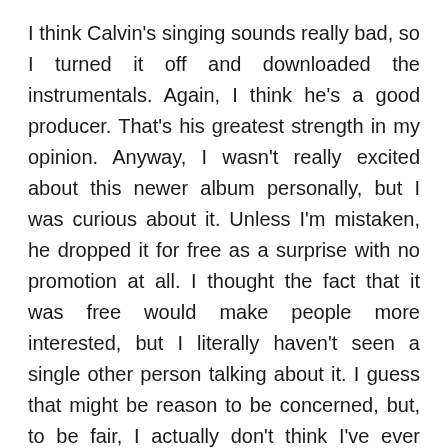I think Calvin's singing sounds really bad, so I turned it off and downloaded the instrumentals. Again, I think he's a good producer. That's his greatest strength in my opinion. Anyway, I wasn't really excited about this newer album personally, but I was curious about it. Unless I'm mistaken, he dropped it for free as a surprise with no promotion at all. I thought the fact that it was free would make people more interested, but I literally haven't seen a single other person talking about it. I guess that might be reason to be concerned, but, to be fair, I actually don't think I've ever seen anyone else talking about Calvin Valentine in general. He said that this is his favorite solo album that he's ever made, so I'm really hoping that I feel the same. I'm writing this preamble before listening to it by the way. I'm gonna start doing that more. I like having my pre-listen thoughts written out and then seeing how they contrast